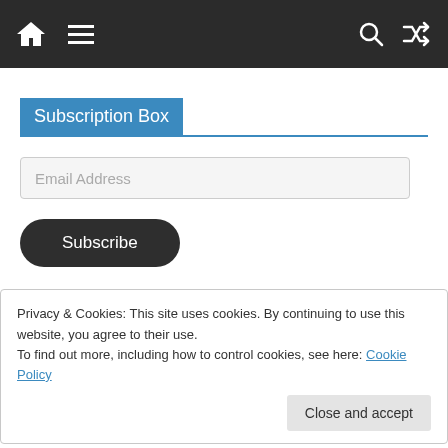[Figure (screenshot): Website navigation bar with home icon, hamburger menu, search icon, and shuffle icon on dark background]
Subscription Box
Email Address
Subscribe
Privacy & Cookies: This site uses cookies. By continuing to use this website, you agree to their use.
To find out more, including how to control cookies, see here: Cookie Policy
Close and accept